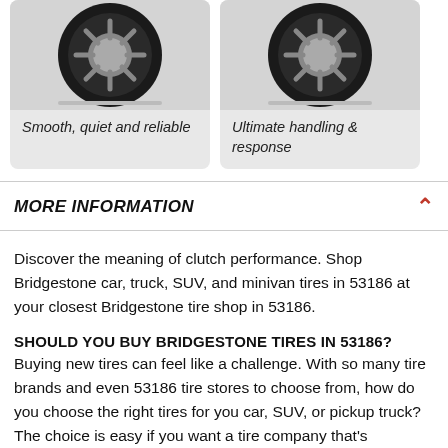[Figure (photo): Photo of a car tire (smooth, quiet and reliable tire product) in a gray card]
Smooth, quiet and reliable
[Figure (photo): Photo of a car tire (ultimate handling & response tire product) in a gray card]
Ultimate handling & response
MORE INFORMATION
Discover the meaning of clutch performance. Shop Bridgestone car, truck, SUV, and minivan tires in 53186 at your closest Bridgestone tire shop in 53186.
SHOULD YOU BUY BRIDGESTONE TIRES IN 53186?
Buying new tires can feel like a challenge. With so many tire brands and even 53186 tire stores to choose from, how do you choose the right tires for you car, SUV, or pickup truck? The choice is easy if you want a tire company that's dedicated to creating world-class products. Buy